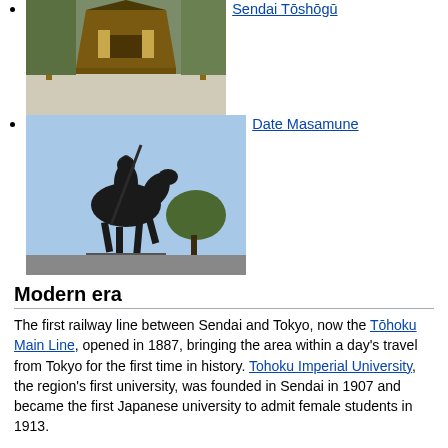[Figure (photo): Photo of Sendai Tōshōgū shrine building with traditional Japanese architecture]
Sendai Tōshōgū
[Figure (photo): Photo of Date Masamune equestrian statue against blue sky with trees]
Date Masamune
Modern era
The first railway line between Sendai and Tokyo, now the Tōhoku Main Line, opened in 1887, bringing the area within a day's travel from Tokyo for the first time in history. Tohoku Imperial University, the region's first university, was founded in Sendai in 1907 and became the first Japanese university to admit female students in 1913.